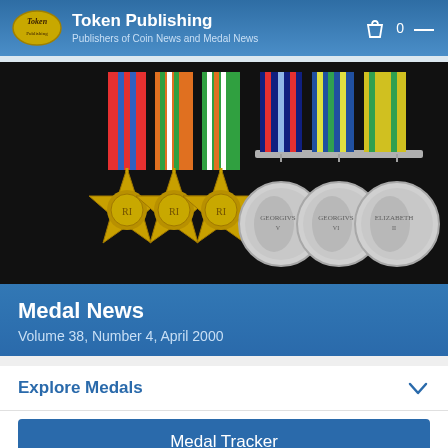Token Publishing — Publishers of Coin News and Medal News
[Figure (photo): Row of six military medals displayed against a black background: three gold star-shaped WWII campaign stars with coloured ribbons on the left, and three silver circular medals with portrait busts on the right, mounted on a bar.]
Medal News
Volume 38, Number 4, April 2000
Explore Medals
Medal Tracker